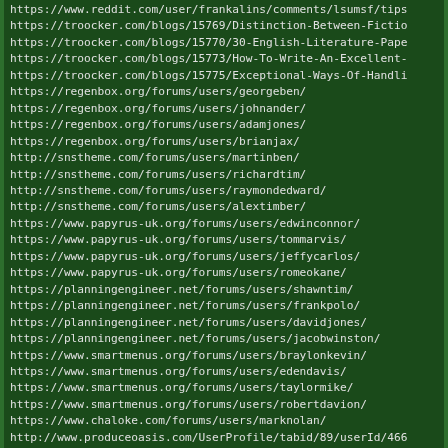https://www.reddit.com/user/frankalins/comments/lsumsf/tips
https://troocker.com/blogs/15769/Distinction-Between-Fictio
https://troocker.com/blogs/15770/30-English-Literature-Pape
https://troocker.com/blogs/15773/How-To-Write-An-Excellent-
https://troocker.com/blogs/15775/Exceptional-Ways-Of-Handli
https://regenbox.org/forums/users/georgeben/
https://regenbox.org/forums/users/johnander/
https://regenbox.org/forums/users/adamjones/
https://regenbox.org/forums/users/brianjax/
http://snstheme.com/forums/users/martinben/
http://snstheme.com/forums/users/richardtim/
http://snstheme.com/forums/users/raymondedward/
http://snstheme.com/forums/users/alextimber/
https://www.papyrus-uk.org/forums/users/edwinconnor/
https://www.papyrus-uk.org/forums/users/tommarvis/
https://www.papyrus-uk.org/forums/users/jeffycarlos/
https://www.papyrus-uk.org/forums/users/romeokane/
https://planningengineer.net/forums/users/shawntim/
https://planningengineer.net/forums/users/frankpolo/
https://planningengineer.net/forums/users/davidjones/
https://planningengineer.net/forums/users/jacobwinston/
https://www.smartmenus.org/forums/users/braylonkevin/
https://www.smartmenus.org/forums/users/edendavis/
https://www.smartmenus.org/forums/users/taylormike/
https://www.smartmenus.org/forums/users/robertdavion/
https://www.chaloke.com/forums/users/marknolan/
http://www.produceoasis.com/UserProfile/tabid/89/userId/466
http://www.produceoasis.com/UserProfile/tabid/89/userId/4660
http://www.produceoasis.com/UserProfile/tabid/89/userId/466